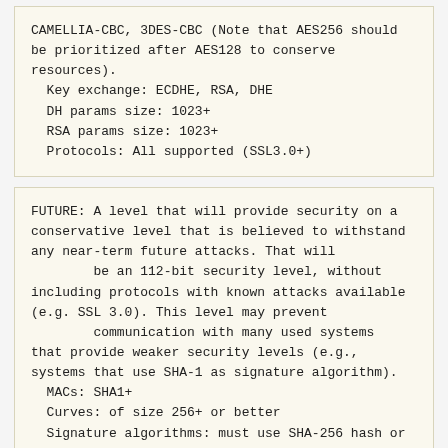CAMELLIA-CBC, 3DES-CBC (Note that AES256 should be prioritized after AES128 to conserve resources).
  Key exchange: ECDHE, RSA, DHE
  DH params size: 1023+
  RSA params size: 1023+
  Protocols: All supported (SSL3.0+)
FUTURE: A level that will provide security on a conservative level that is believed to withstand any near-term future attacks. That will
        be an 112-bit security level, without including protocols with known attacks available (e.g. SSL 3.0). This level may prevent
        communication with many used systems that provide weaker security levels (e.g., systems that use SHA-1 as signature algorithm).
  MACs: SHA1+
  Curves: of size 256+ or better
  Signature algorithms: must use SHA-256 hash or better
  Ciphers: AES-GCM, AES-CBC, CAMELLIA-GCM, CAMELLIA-CBC (Note that AES256 should be